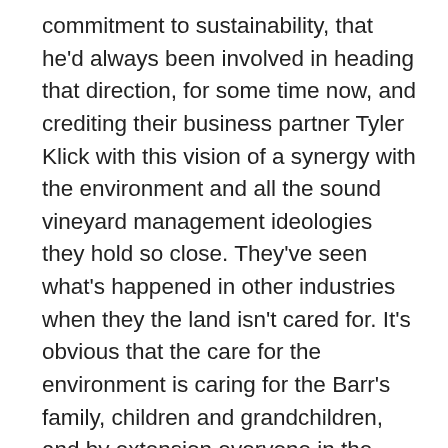commitment to sustainability, that he'd always been involved in heading that direction, for some time now, and crediting their business partner Tyler Klick with this vision of a synergy with the environment and all the sound vineyard management ideologies they hold so close. They've seen what's happened in other industries when they the land isn't cared for. It's obvious that the care for the environment is caring for the Barr's family, children and grandchildren, and by extension everyone in the community and their families. Kevin and Linda made it clear, they're more about sustaining themselves and the land,